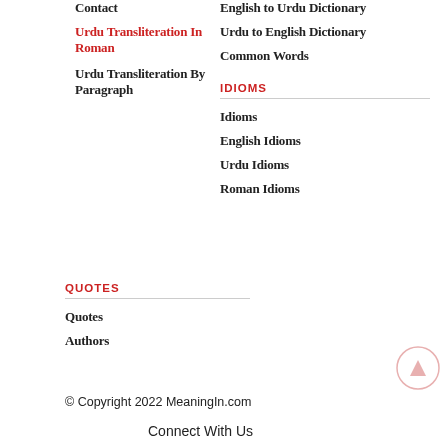Contact
Urdu Transliteration In Roman
Urdu Transliteration By Paragraph
English to Urdu Dictionary
Urdu to English Dictionary
Common Words
IDIOMS
Idioms
English Idioms
Urdu Idioms
Roman Idioms
QUOTES
Quotes
Authors
© Copyright 2022 MeaningIn.com
Connect With Us